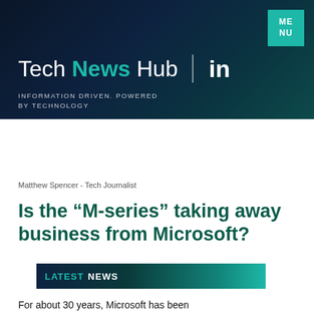Tech News Hub | INFORMATION DRIVEN. POWERED BY TECHNOLOGY
[Figure (logo): Tech News Hub logo with LinkedIn icon and teal menu button on dark navy background]
LATEST NEWS
Matthew Spencer - Tech Journalist
Is the “M-series” taking away business from Microsoft?
For about 30 years, Microsoft has been